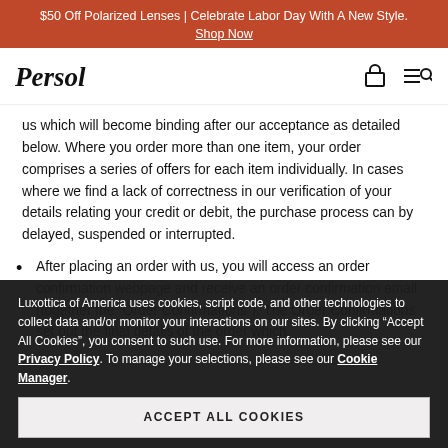$50 Off Polarized Lenses | Celebrate Labor Day With A New Style. Shop Now
[Figure (logo): Persol brand logo in italic script font]
us which will become binding after our acceptance as detailed below. Where you order more than one item, your order comprises a series of offers for each item individually. In cases where we find a lack of correctness in our verification of your details relating your credit or debit, the purchase process can by delayed, suspended or interrupted.
After placing an order with us, you will access an order confirmation webpage and receive an order confirmation email (together the “Order Confirmations”). The Order Confirmations set out the final details of the order which
Luxottica of America uses cookies, script code, and other technologies to collect data and/or monitor your interactions on our sites. By clicking “Accept All Cookies”, you consent to such use. For more information, please see our Privacy Policy. To manage your selections, please see our Cookie Manager.
ACCEPT ALL COOKIES